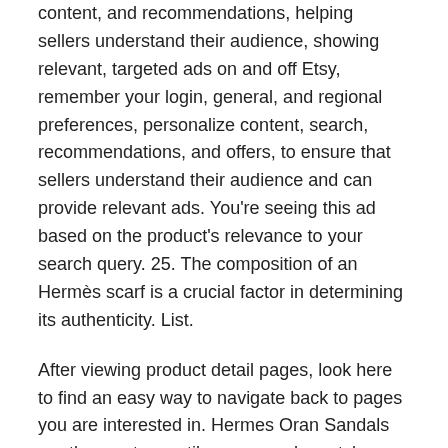content, and recommendations, helping sellers understand their audience, showing relevant, targeted ads on and off Etsy, remember your login, general, and regional preferences, personalize content, search, recommendations, and offers, to ensure that sellers understand their audience and can provide relevant ads. You're seeing this ad based on the product's relevance to your search query. 25. The composition of an Hermès scarf is a crucial factor in determining its authenticity. List.
After viewing product detail pages, look here to find an easy way to navigate back to pages you are interested in. Hermes Oran Sandals are the most versatile summer shoe style - they are sleek, effortless and also classic, luxurious! Learn more. To make their scarves, the brand uses 100% silk loomed in-house and a blend of wool, silk or cashmere but never polyester. Our Store customers more than anything, which is why all our efforts are directed at getting 100% customer satisfaction. We've sent you an email to